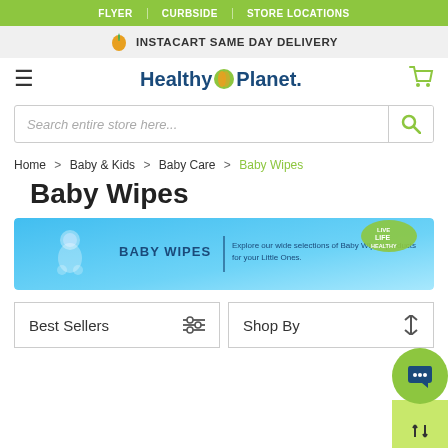FLYER | CURBSIDE | STORE LOCATIONS
INSTACART SAME DAY DELIVERY
[Figure (logo): Healthy Planet logo with orange/green circular icon between 'Healthy' and 'Planet' text]
Search entire store here...
Home > Baby & Kids > Baby Care > Baby Wipes
Baby Wipes
[Figure (infographic): Baby Wipes category banner in blue with baby icon, bold BABY WIPES label, divider, and description text: Explore our wide selections of Baby Wipes products for your Little Ones. Live Life Healthy badge in top right corner.]
Best Sellers
Shop By